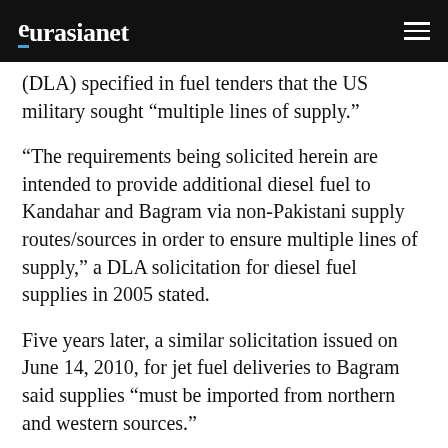eurasianet
(DLA) specified in fuel tenders that the US military sought “multiple lines of supply.”
“The requirements being solicited herein are intended to provide additional diesel fuel to Kandahar and Bagram via non-Pakistani supply routes/sources in order to ensure multiple lines of supply,” a DLA solicitation for diesel fuel supplies in 2005 stated.
Five years later, a similar solicitation issued on June 14, 2010, for jet fuel deliveries to Bagram said supplies “must be imported from northern and western sources.”
“Historically there have been disruptions in